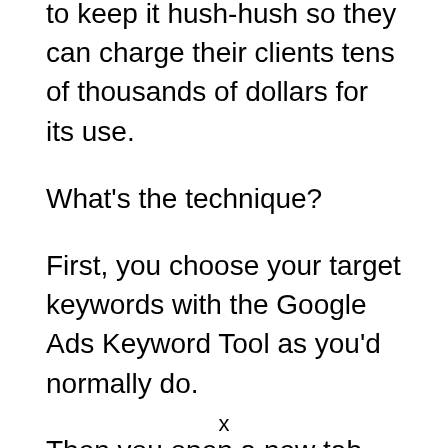to keep it hush-hush so they can charge their clients tens of thousands of dollars for its use.
What’s the technique?
First, you choose your target keywords with the Google Ads Keyword Tool as you’d normally do.
Then you open a new tab, do a Google search for every keyword, and visit each of
x